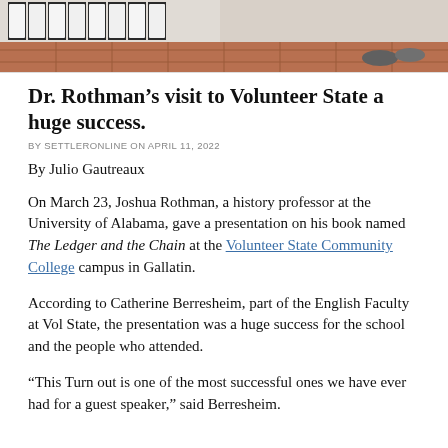[Figure (photo): Top portion of a photo showing shelves with items in a room with tiled floor, cropped at the top of the page.]
Dr. Rothman's visit to Volunteer State a huge success.
BY SETTLERONLINE ON APRIL 11, 2022
By Julio Gautreaux
On March 23, Joshua Rothman, a history professor at the University of Alabama, gave a presentation on his book named The Ledger and the Chain at the Volunteer State Community College campus in Gallatin.
According to Catherine Berresheim, part of the English Faculty at Vol State, the presentation was a huge success for the school and the people who attended.
“This Turn out is one of the most successful ones we have ever had for a guest speaker,” said Berresheim.